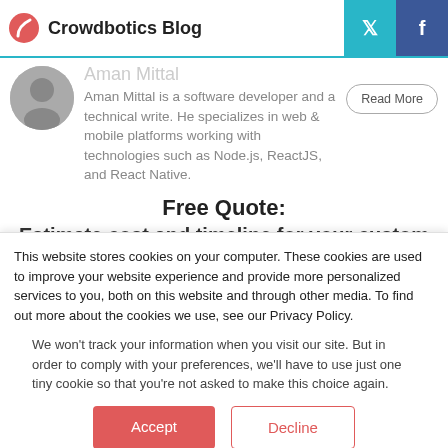Crowdbotics Blog
Aman Mittal is a software developer and a technical write. He specializes in web & mobile platforms working with technologies such as Node.js, ReactJS, and React Native.
Free Quote:
Estimate cost and timeline for your custom
This website stores cookies on your computer. These cookies are used to improve your website experience and provide more personalized services to you, both on this website and through other media. To find out more about the cookies we use, see our Privacy Policy.
We won't track your information when you visit our site. But in order to comply with your preferences, we'll have to use just one tiny cookie so that you're not asked to make this choice again.